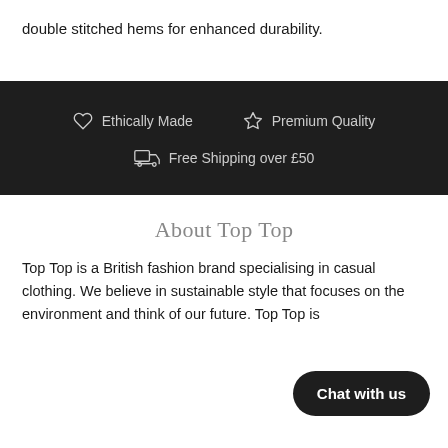double stitched hems for enhanced durability.
Ethically Made   Premium Quality   Free Shipping over £50
About Top Top
Top Top is a British fashion brand specialising in casual clothing. We believe in sustainable style that focuses on the environment and think of our future. Top Top is
Chat with us